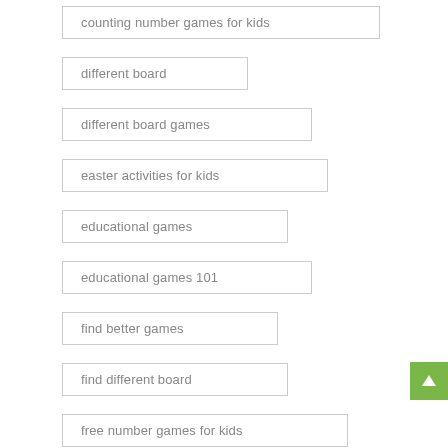counting number games for kids
different board
different board games
easter activities for kids
educational games
educational games 101
find better games
find different board
free number games for kids